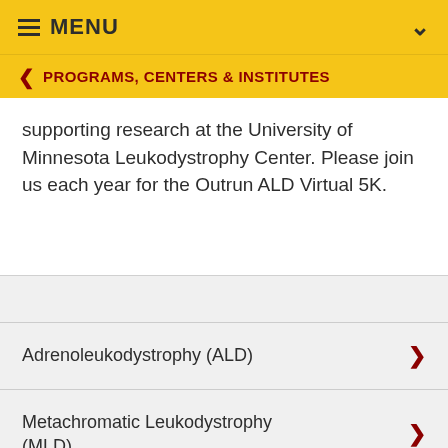MENU
PROGRAMS, CENTERS & INSTITUTES
supporting research at the University of Minnesota Leukodystrophy Center. Please join us each year for the Outrun ALD Virtual 5K.
Adrenoleukodystrophy (ALD)
Metachromatic Leukodystrophy (MLD)